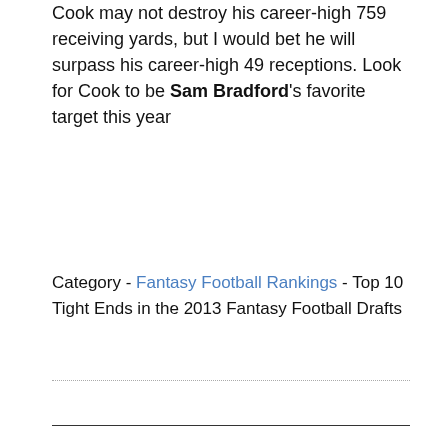Cook may not destroy his career-high 759 receiving yards, but I would bet he will surpass his career-high 49 receptions. Look for Cook to be Sam Bradford's favorite target this year
Category - Fantasy Football Rankings - Top 10 Tight Ends in the 2013 Fantasy Football Drafts
Dominate Your League
first name
email address